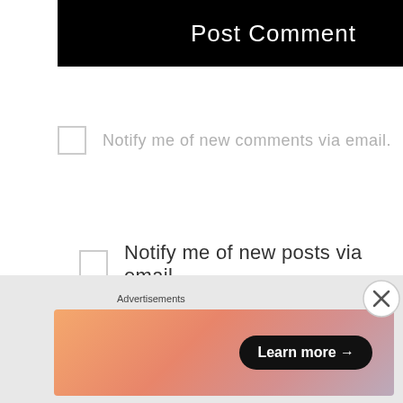[Figure (screenshot): Black button with white text reading 'Post Comment']
Notify me of new comments via email.
Notify me of new posts via email.
Advertisements
[Figure (logo): Longreads red banner advertisement with circle L logo and 'LONGREADS' text in white on dark red background]
Advertisements
[Figure (logo): WordPress VIP logo and a 'Learn more' button on gradient orange/pink background]